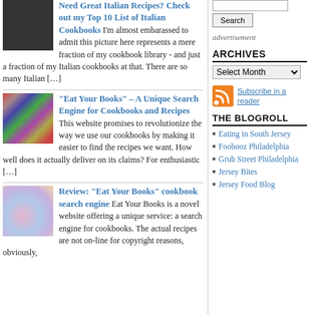[Figure (photo): Dark/black textured image thumbnail for Italian cookbooks article]
Need Great Italian Recipes? Check out my Top 10 List of Italian Cookbooks
I'm almost embarassed to admit this picture here represents a mere fraction of my cookbook library - and just a fraction of my Italian cookbooks at that. There are so many Italian […]
[Figure (photo): Colorful bookshelf with many cookbooks spines]
“Eat Your Books” – A Unique Search Engine for Cookbooks and Recipes
This website promises to revolutionize the way we use our cookbooks by making it easier to find the recipes we want. How well does it actually deliver on its claims? For enthusiastic […]
[Figure (photo): Bokeh background with soft pink, blue and yellow circles]
Review: “Eat Your Books” cookbook search engine
Eat Your Books is a novel website offering a unique service: a search engine for cookbooks. The actual recipes are not on-line for copyright reasons, obviously,
advertisement
ARCHIVES
[Figure (other): RSS feed orange icon]
Subscribe in a reader
THE BLOGROLL
Eating in South Jersey
Foobooz Philadelphia
Grub Street Philadelphia
Jersey Bites
Jersey Food Blog